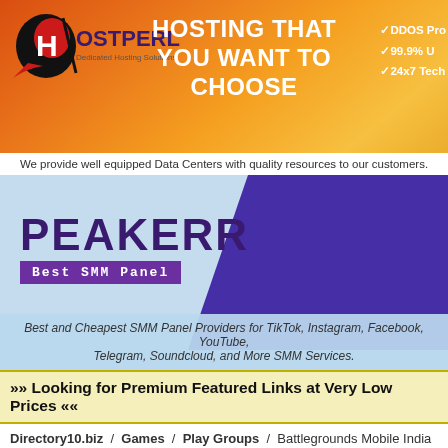[Figure (other): HostPerl banner ad - orange gradient background with logo, 'HOSTING THAT YOU WANT TO CHOOSE' headline, and checkmarks for DDOS Protection, 99.9% Uptime, 24x7 Tech support]
We provide well equipped Data Centers with quality resources to our customers.
[Figure (other): PEAKERR Best SMM Panel banner with purple triangle graphic and water droplet background]
Best and Cheapest SMM Panel Providers for TikTok, Instagram, Facebook, YouTube, Telegram, Soundcloud, and More SMM Services.
»» Looking for Premium Featured Links at Very Low Prices ««
Directory10.biz / Games / Play Groups / Battlegrounds Mobile India Sensitivity Settings: To Take shot
Battlegrounds Mobile India Sensitivity Settings: To Take shot
Website URL: https://stubborngamer.com/battlegrounds-mobile-india-sensitivity-settings-to-take-perfect-headshot/
Category: Play Groups
Battlegrounds Mobile India has become interesting among gaming lovers. Moreover, the game has got 34 million downloads on Google Play Store. Among the